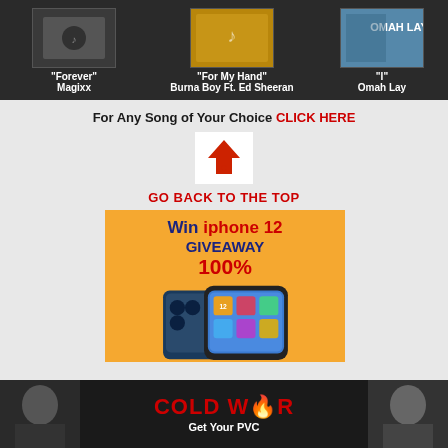[Figure (screenshot): Music thumbnails row showing album art for Forever by Magixx, For My Hand by Burna Boy Ft. Ed Sheeran, and I by Omah Lay on dark background]
"Forever" Magixx
"For My Hand" Burna Boy Ft. Ed Sheeran
"I" Omah Lay
For Any Song of Your Choice CLICK HERE
[Figure (illustration): Home/up arrow icon in red on white background]
GO BACK TO THE TOP
[Figure (infographic): Win iphone 12 Giveaway 100% advertisement banner on orange background with iPhone 12 device image]
[Figure (infographic): Cold War Get Your PVC political advertisement banner with two persons on dark background]